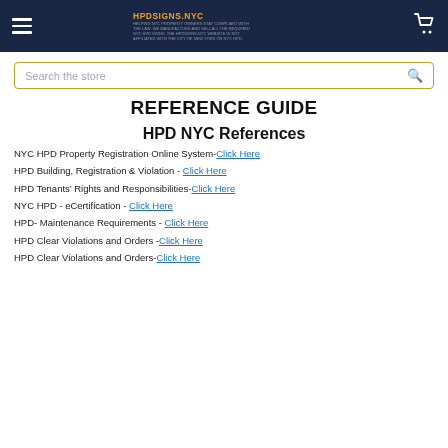HPDSIGNS.NYC — navigation header with logo, hamburger menu, and cart icon
REFERENCE GUIDE
HPD NYC References
NYC HPD Property Registration Online System-Click Here
HPD Building, Registration & Violation - Click Here
HPD Tenants' Rights and Responsibilities-Click Here
NYC HPD - eCertification - Click Here
HPD- Maintenance Requirements - Click Here
HPD Clear Violations and Orders -Click Here
HPD Clear Violations and Orders-Click Here